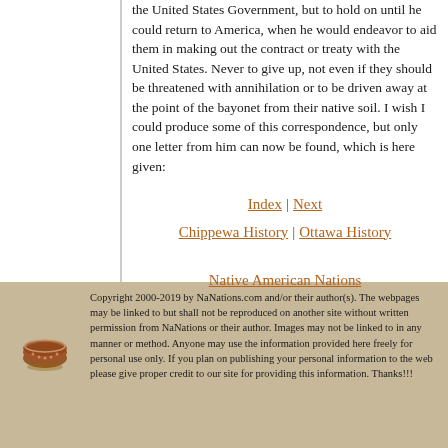the United States Government, but to hold on until he could return to America, when he would endeavor to aid them in making out the contract or treaty with the United States. Never to give up, not even if they should be threatened with annihilation or to be driven away at the point of the bayonet from their native soil. I wish I could produce some of this correspondence, but only one letter from him can now be found, which is here given:
Index | Next
Chippewa History | Ottawa History
Native American Nations
Copyright 2000-2019 by NaNations.com and/or their author(s). The webpages may be linked to but shall not be reproduced on another site without written permission from NaNations or their author. Images may not be linked to in any manner or method. Anyone may use the information provided here freely for personal use only. If you plan on publishing your personal information to the web please give proper credit to our site for providing this information. Thanks!!!